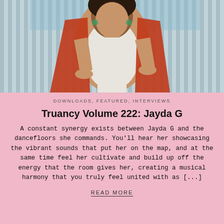[Figure (photo): Portrait photo of Jayda G, a woman wearing a white top and red open jacket, standing in front of corrugated metal panels]
DOWNLOADS, FEATURED, INTERVIEWS
Truancy Volume 222: Jayda G
A constant synergy exists between Jayda G and the dancefloors she commands. You'll hear her showcasing the vibrant sounds that put her on the map, and at the same time feel her cultivate and build up off the energy that the room gives her, creating a musical harmony that you truly feel united with as [...]
READ MORE